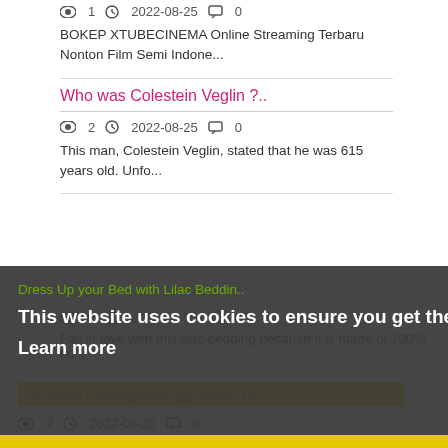1   2022-08-25   0
BOKEP XTUBECINEMA Online Streaming Terbaru Nonton Film Semi Indone...
Who was Colestein Veglin ?..
2   2022-08-25   0
This man, Colestein Veglin, stated that he was 615 years old. Unfo...
Dress Up your Bed with Lilac Beddin..
This website uses cookies to ensure you get the best experience on our website.
Learn more
2   2022-08-25   0
Fall in love with this lilac bedding because it is made of 100% co...
Software Development App dallas TX ..
Got it!
2   2022-08-25   0
Modern technology has no limits, they can work across borders. ...